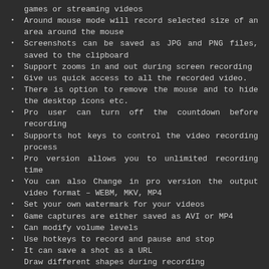games or streaming videos
Around mouse mode will record selected size of an area around the mouse
Screenshots can be saved as JPG and PNG files, saved to the clipboard
Support zooms in and out during screen recording
Give us quick access to all the recorded video.
There is option to remove the mouse and to hide the desktop icons etc.
Pro user can turn off the countdown before recording
Supports hot keys to control the video recording process
Pro version allows you to unlimited recording time
You can also Change in pro version the output video format – WEBM, MKV, MP4
Set your own watermark for your videos
Game captures are either saved as AVI or MP4
Can modify volume levels
Use hotkeys to record and pause and stop
It can save a shot as a URL
Draw different shapes during recording